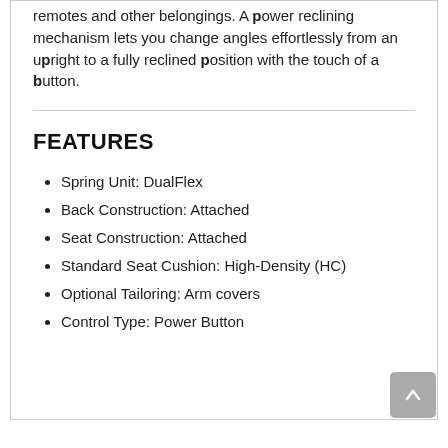remotes and other belongings. A power reclining mechanism lets you change angles effortlessly from an upright to a fully reclined position with the touch of a button.
FEATURES
Spring Unit: DualFlex
Back Construction: Attached
Seat Construction: Attached
Standard Seat Cushion: High-Density (HC)
Optional Tailoring: Arm covers
Control Type: Power Button